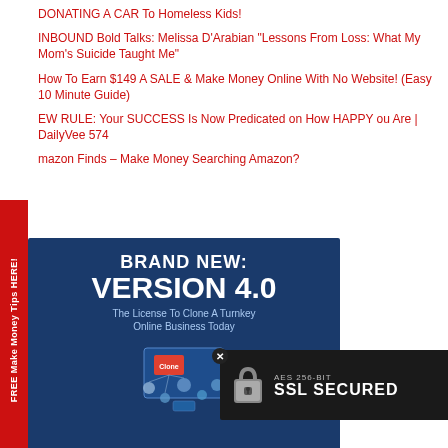DONATING A CAR To Homeless Kids!
INBOUND Bold Talks: Melissa D’Arabian “Lessons From Loss: What My Mom’s Suicide Taught Me”
How To Earn $149 A SALE & Make Money Online With No Website! (Easy 10 Minute Guide)
NEW RULE: Your SUCCESS Is Now Predicated on How HAPPY You Are | DailyVee 574
Amazon Finds – Make Money Searching Amazon?
[Figure (infographic): Ad banner: BRAND NEW: VERSION 4.0 - The License To Clone A Turnkey Online Business Today, with product mockup graphic on blue background. SSL secured badge overlay showing AES 256-BIT SSL SECURED.]